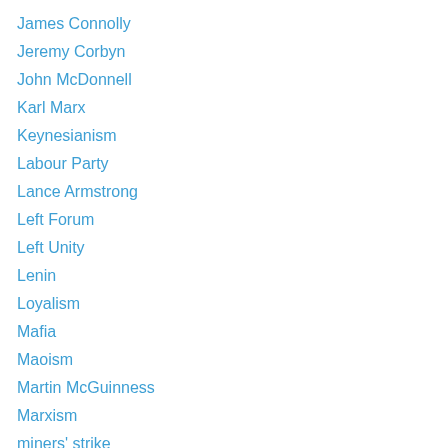James Connolly
Jeremy Corbyn
John McDonnell
Karl Marx
Keynesianism
Labour Party
Lance Armstrong
Left Forum
Left Unity
Lenin
Loyalism
Mafia
Maoism
Martin McGuinness
Marxism
miners' strike
Mondragon
Music
nation state
national self-determination